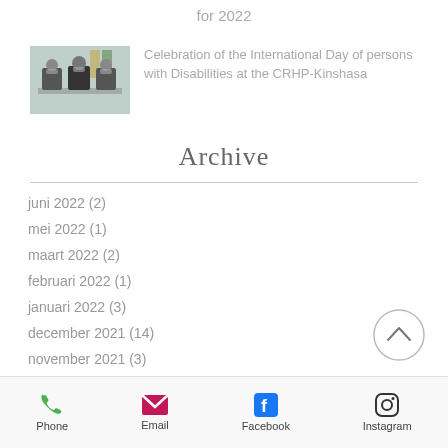for 2022
[Figure (photo): Three people sitting at a table at what appears to be an official event, with flags in the background]
Celebration of the International Day of persons with Disabilities at the CRHP-Kinshasa
Archive
juni 2022 (2)
mei 2022 (1)
maart 2022 (2)
februari 2022 (1)
januari 2022 (3)
december 2021 (14)
november 2021 (3)
Phone  Email  Facebook  Instagram